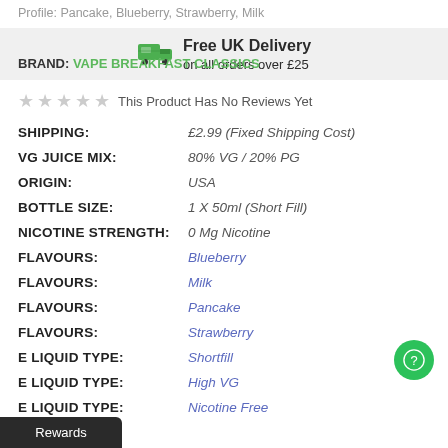Profile: Pancake, Blueberry, Strawberry, Milk
[Figure (infographic): Free UK Delivery banner with truck icon: 'Free UK Delivery on all orders over £25']
BRAND: VAPE BREAKFAST CLASSICS
★★★★★ This Product Has No Reviews Yet
| Field | Value |
| --- | --- |
| SHIPPING: | £2.99 (Fixed Shipping Cost) |
| VG JUICE MIX: | 80% VG / 20% PG |
| ORIGIN: | USA |
| BOTTLE SIZE: | 1 X 50ml (Short Fill) |
| NICOTINE STRENGTH: | 0 Mg Nicotine |
| FLAVOURS: | Blueberry |
| FLAVOURS: | Milk |
| FLAVOURS: | Pancake |
| FLAVOURS: | Strawberry |
| E LIQUID TYPE: | Shortfill |
| E LIQUID TYPE: | High VG |
| E LIQUID TYPE: | Nicotine Free |
Rewards